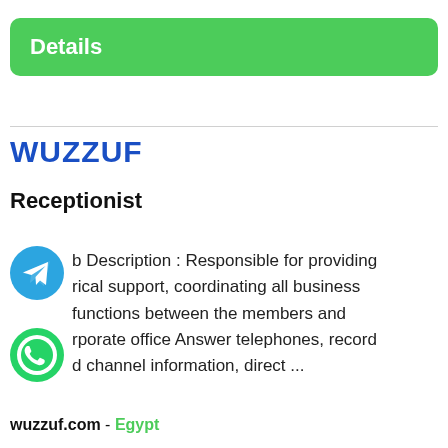Details
WUZZUF
Receptionist
Job Description : Responsible for providing clerical support, coordinating all business functions between the members and corporate office Answer telephones, record and channel information, direct ...
wuzzuf.com - Egypt